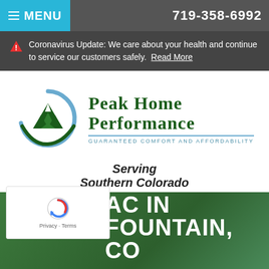MENU   719-358-6992
Coronavirus Update: We care about your health and continue to service our customers safely.  Read More
[Figure (logo): Peak Home Performance logo — circular green mountain and blue swoosh, with text PEAK HOME PERFORMANCE and tagline GUARANTEED COMFORT AND AFFORDABILITY]
Serving Southern Colorado
AC IN FOUNTAIN, CO
[Figure (other): reCAPTCHA widget with Privacy and Terms links]